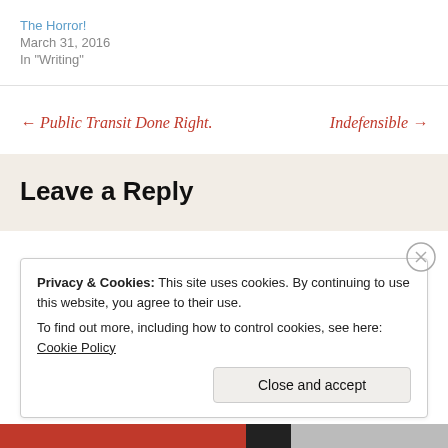The Horror!
March 31, 2016
In "Writing"
← Public Transit Done Right.
Indefensible →
Leave a Reply
Privacy & Cookies: This site uses cookies. By continuing to use this website, you agree to their use.
To find out more, including how to control cookies, see here: Cookie Policy
Close and accept